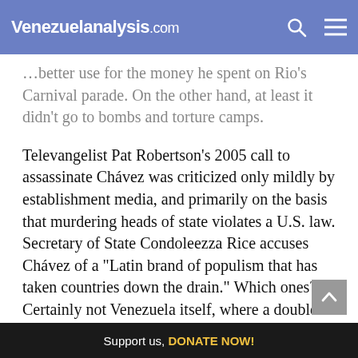Venezuelanalysis.com
...better use for the money he spent on Rio's Carnival parade. On the other hand, at least it didn't go to bombs and torture camps.
Televangelist Pat Robertson's 2005 call to assassinate Chávez was criticized only mildly by establishment media, and primarily on the basis that murdering heads of state violates a U.S. law. Secretary of State Condoleezza Rice accuses Chávez of a "Latin brand of populism that has taken countries down the drain." Which ones? Certainly not Venezuela itself, where a double-digit-GDP boom leads the region and new houses,
Support us, DONATE NOW!